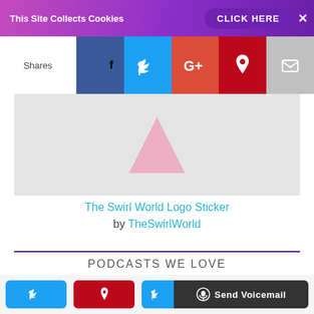This Site Collects Cookies  CLICK HERE  ×
[Figure (screenshot): Social share bar with Shares label, Facebook, Twitter, Google+, Pinterest, and Email icons]
[Figure (illustration): Product image area with pink swirl triangle logo on light gray background]
The Swirl World Logo Sticker by TheSwirlWorld
PODCASTS WE LOVE
Privacy & Cookies: This site uses cookies. By continuing to use this website, you agree to their use.
To find out more, including how to control cookies, see here: Cookie Policy
Twitter  Pinterest  Send Voicemail